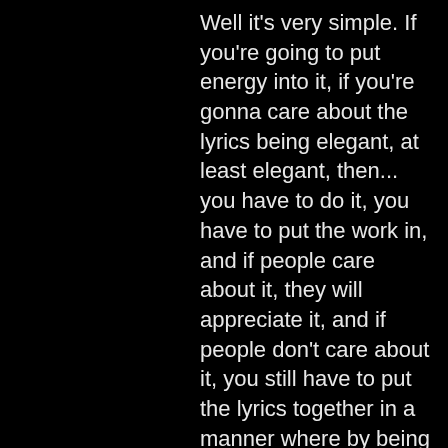Well it's very simple. If you're going to put energy into it, if you're gonna care about the lyrics being elegant, at least elegant, then... you have to do it, you have to put the work in, and if people care about it, they will appreciate it, and if people don't care about it, you still have to put the lyrics together in a manner where by being used to carry the melody, they're just like any other lyric.